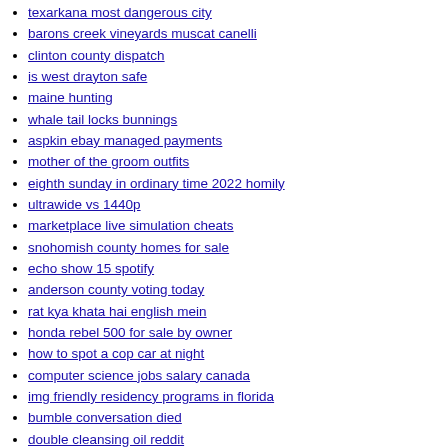texarkana most dangerous city
barons creek vineyards muscat canelli
clinton county dispatch
is west drayton safe
maine hunting
whale tail locks bunnings
aspkin ebay managed payments
mother of the groom outfits
eighth sunday in ordinary time 2022 homily
ultrawide vs 1440p
marketplace live simulation cheats
snohomish county homes for sale
echo show 15 spotify
anderson county voting today
rat kya khata hai english mein
honda rebel 500 for sale by owner
how to spot a cop car at night
computer science jobs salary canada
img friendly residency programs in florida
bumble conversation died
double cleansing oil reddit
high school sports scandals
despicable me 2 kuttymovies
optics reticles
av fair and event center